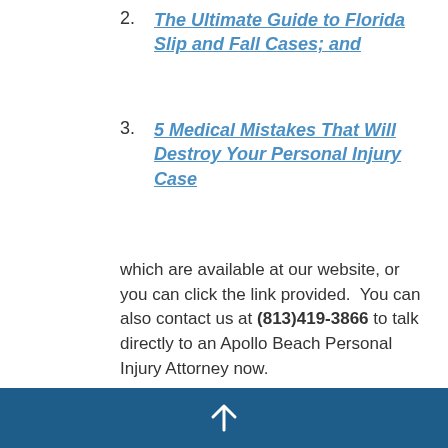2. The Ultimate Guide to Florida Slip and Fall Cases; and
3. 5 Medical Mistakes That Will Destroy Your Personal Injury Case
which are available at our website, or you can click the link provided.  You can also contact us at (813)419-3866 to talk directly to an Apollo Beach Personal Injury Attorney now.
Blog  •  Medical Treatment  •  Personal Injury
[Figure (infographic): Social share icons: Facebook, Twitter, LinkedIn, link/chain icon]
[Figure (infographic): Footer interaction icons: eye/views icon showing 5 views, comment bubble icon, heart/like icon in red outline]